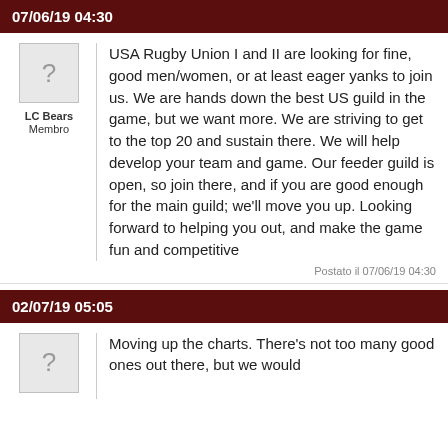07/06/19 04:30
LC Bears
Membro
USA Rugby Union I and II are looking for fine, good men/women, or at least eager yanks to join us. We are hands down the best US guild in the game, but we want more. We are striving to get to the top 20 and sustain there. We will help develop your team and game. Our feeder guild is open, so join there, and if you are good enough for the main guild; we'll move you up. Looking forward to helping you out, and make the game fun and competitive
Postato il 07/06/19 04:30
02/07/19 05:05
Moving up the charts. There's not too many good ones out there, but we would